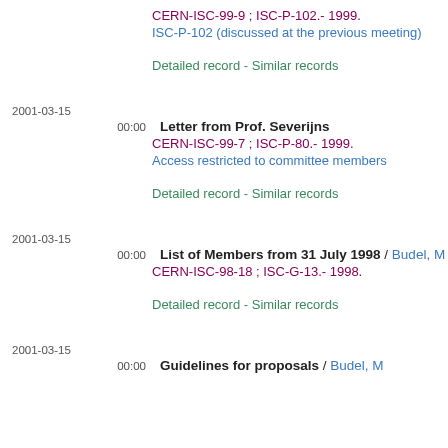CERN-ISC-99-9 ; ISC-P-102.- 1999.
ISC-P-102 (discussed at the previous meeting)
Detailed record - Similar records
2001-03-15
00:00
Letter from Prof. Severijns
CERN-ISC-99-7 ; ISC-P-80.- 1999.
Access restricted to committee members
Detailed record - Similar records
2001-03-15
00:00
List of Members from 31 July 1998 / Budel, M
CERN-ISC-98-18 ; ISC-G-13.- 1998.
Detailed record - Similar records
2001-03-15
00:00
Guidelines for proposals / Budel, M